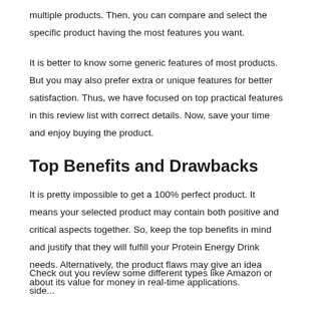multiple products. Then, you can compare and select the specific product having the most features you want.
It is better to know some generic features of most products. But you may also prefer extra or unique features for better satisfaction. Thus, we have focused on top practical features in this review list with correct details. Now, save your time and enjoy buying the product.
Top Benefits and Drawbacks
It is pretty impossible to get a 100% perfect product. It means your selected product may contain both positive and critical aspects together. So, keep the top benefits in mind and justify that they will fulfill your Protein Energy Drink needs. Alternatively, the product flaws may give an idea about its value for money in real-time applications.
Check out you review some different types like Amazon or side...